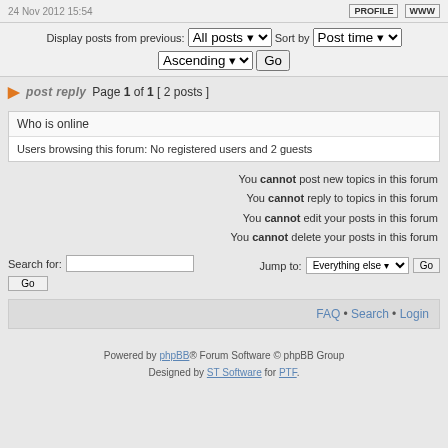24 Nov 2012 15:54  PROFILE  WWW
Display posts from previous: All posts  Sort by Post time  Ascending  Go
post reply  Page 1 of 1  [ 2 posts ]
Who is online
Users browsing this forum: No registered users and 2 guests
You cannot post new topics in this forum
You cannot reply to topics in this forum
You cannot edit your posts in this forum
You cannot delete your posts in this forum
Search for:    Go    Jump to: Everything else  Go
FAQ • Search • Login
Powered by phpBB® Forum Software © phpBB Group
Designed by ST Software for PTF.